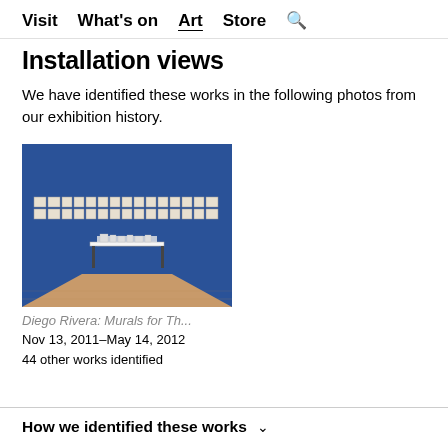Visit  What's on  Art  Store  🔍
Installation views
We have identified these works in the following photos from our exhibition history.
[Figure (photo): Gallery installation photo showing a room with blue walls, framed artworks hung in two rows, and a display table in the center on a wood floor.]
Diego Rivera: Murals for Th...
Nov 13, 2011–May 14, 2012
44 other works identified
How we identified these works ∨